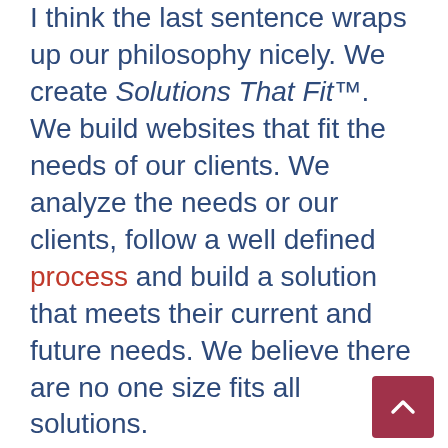I think the last sentence wraps up our philosophy nicely. We create Solutions That Fit™. We build websites that fit the needs of our clients. We analyze the needs or our clients, follow a well defined process and build a solution that meets their current and future needs. We believe there are no one size fits all solutions.

Basically, we will help you build a web presence that helps you b[uild] your business or sell your products